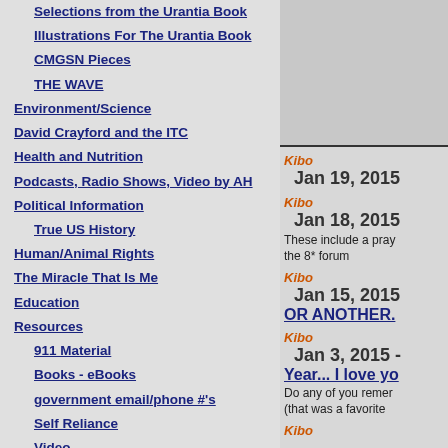Selections from the Urantia Book
Illustrations For The Urantia Book
CMGSN Pieces
THE WAVE
Environment/Science
David Crayford and the ITC
Health and Nutrition
Podcasts, Radio Shows, Video by AH
Political Information
True US History
Human/Animal Rights
The Miracle That Is Me
Education
Resources
911 Material
Books - eBooks
government email/phone #'s
Self Reliance
Video
Websites
Alternative News Sources
Art and Music
Kibo Jan 19, 2015
Kibo Jan 18, 2015
These include a pray the 8* forum
Kibo Jan 15, 2015
OR ANOTHER.
Kibo Jan 3, 2015 -
Year... I love yo
Do any of you remer (that was a favorite
Kibo